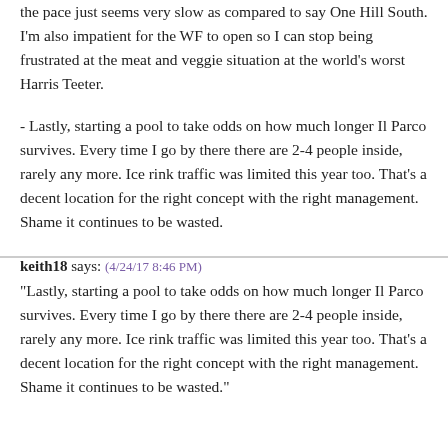the pace just seems very slow as compared to say One Hill South. I'm also impatient for the WF to open so I can stop being frustrated at the meat and veggie situation at the world's worst Harris Teeter.
- Lastly, starting a pool to take odds on how much longer Il Parco survives. Every time I go by there there are 2-4 people inside, rarely any more. Ice rink traffic was limited this year too. That's a decent location for the right concept with the right management. Shame it continues to be wasted.
keith18 says: (4/24/17 8:46 PM)
"Lastly, starting a pool to take odds on how much longer Il Parco survives. Every time I go by there there are 2-4 people inside, rarely any more. Ice rink traffic was limited this year too. That's a decent location for the right concept with the right management. Shame it continues to be wasted."